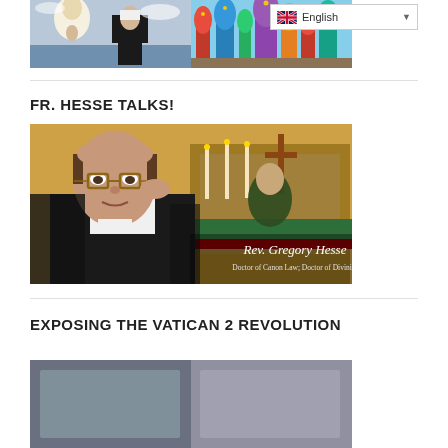[Figure (photo): Top banner with religious/travel imagery - left side shows a figure in white with praying hands, right side shows Russian-style colorful architecture (St. Basil's Cathedral). A language selector showing 'English' with UK flag is in the top right.]
FR. HESSE TALKS!
[Figure (photo): Photo of Rev. Gregory Hesse, a man wearing glasses and black and white clerical clothing, adjusting his glasses. In the background is a church altar with candles and a cross. Text overlay reads 'Rev. Gregory Hesse / Doctor of Canon Law; Doctor of Divinity']
EXPOSING THE VATICAN 2 REVOLUTION
[Figure (photo): Partial image at the bottom of the page, cut off]